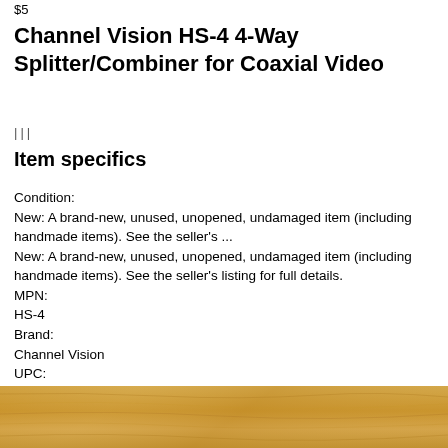$5
Channel Vision HS-4 4-Way Splitter/Combiner for Coaxial Video
|||
Item specifics
Condition:
New: A brand-new, unused, unopened, undamaged item (including handmade items). See the seller's ...
New: A brand-new, unused, unopened, undamaged item (including handmade items). See the seller's listing for full details.
MPN:
HS-4
Brand:
Channel Vision
UPC:
690240011081
[Figure (photo): Wood surface/table background photo, golden-brown wood grain texture visible at bottom of page]